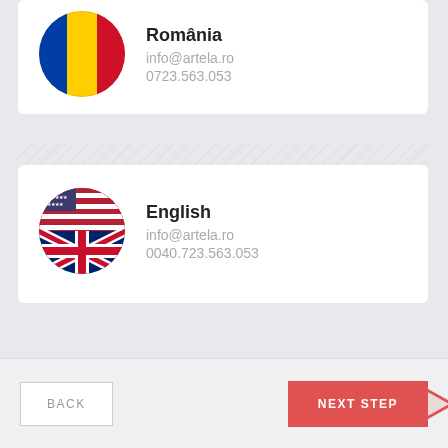[Figure (screenshot): Partially visible Romania contact card with Romanian flag circle, email info@artela.ro and phone 0723.563.053]
România
info@artela.ro
0723.563.053
[Figure (screenshot): English contact card with US/UK combined flag circle, label English, email info@artela.ro and phone 0040.723.563.053]
English
info@artela.ro
0040.723.563.053
BACK
NEXT STEP